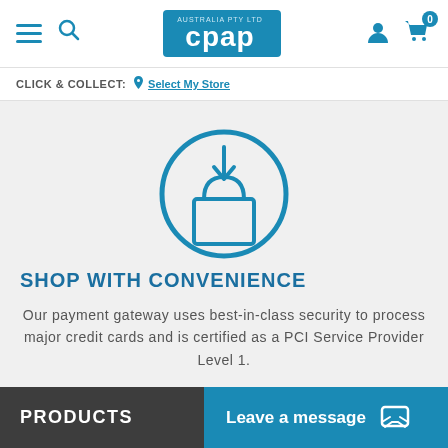CPAP Australia - Navigation bar with hamburger menu, search, logo, user and cart icons (0 items)
CLICK & COLLECT: Select My Store
[Figure (illustration): Blue outline icon of a shopping bag being placed inside a circle, representing click and collect / secure checkout]
SHOP WITH CONVENIENCE
Our payment gateway uses best-in-class security to process major credit cards and is certified as a PCI Service Provider Level 1.
PRODUCTS  |  Leave a message